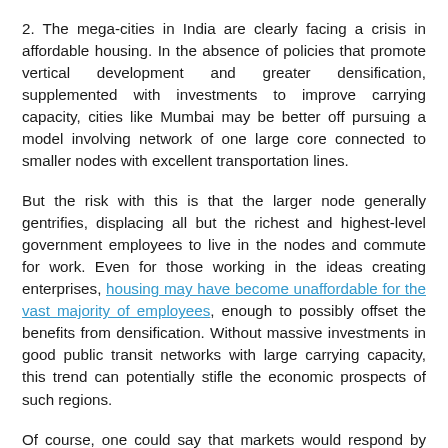2. The mega-cities in India are clearly facing a crisis in affordable housing. In the absence of policies that promote vertical development and greater densification, supplemented with investments to improve carrying capacity, cities like Mumbai may be better off pursuing a model involving network of one large core connected to smaller nodes with excellent transportation lines.
But the risk with this is that the larger node generally gentrifies, displacing all but the richest and highest-level government employees to live in the nodes and commute for work. Even for those working in the ideas creating enterprises, housing may have become unaffordable for the vast majority of employees, enough to possibly offset the benefits from densification. Without massive investments in good public transit networks with large carrying capacity, this trend can potentially stifle the economic prospects of such regions.
Of course, one could say that markets would respond by moving out some of the economic activities, especially those requiring larger land and more workers, out from the city